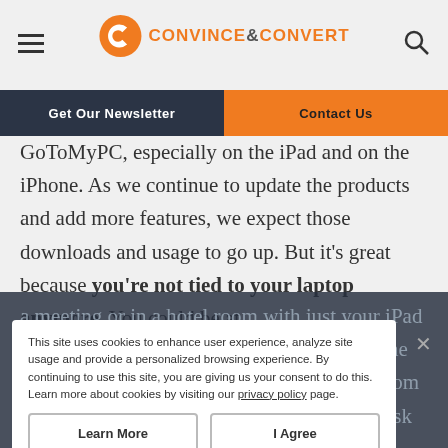CONVINCE&CONVERT
Get Our Newsletter | Contact Us
GoToMyPC, especially on the iPad and on the iPhone. As we continue to update the products and add more features, we expect those downloads and usage to go up. But it’s great because you’re not tied to your laptop anymore. You could be at a meeting or in a hotel room with just your iPad and be able to jump on a meeting and... let me show a different angle... if you were away from your desk and a meeting was scheduled, ... ask people to advance the slides or to describe
This site uses cookies to enhance user experience, analyze site usage and provide a personalized browsing experience. By continuing to use this site, you are giving us your consent to do this. Learn more about cookies by visiting our privacy policy page.